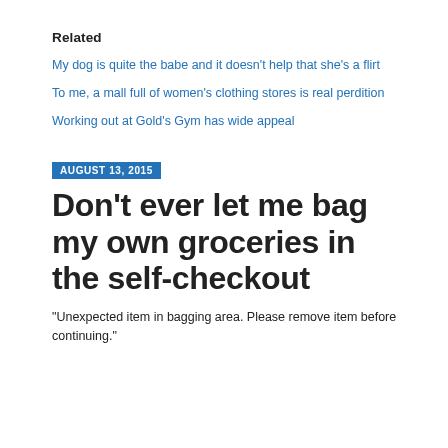Related
My dog is quite the babe and it doesn't help that she's a flirt
To me, a mall full of women's clothing stores is real perdition
Working out at Gold's Gym has wide appeal
AUGUST 13, 2015
Don't ever let me bag my own groceries in the self-checkout
“Unexpected item in bagging area. Please remove item before continuing.”